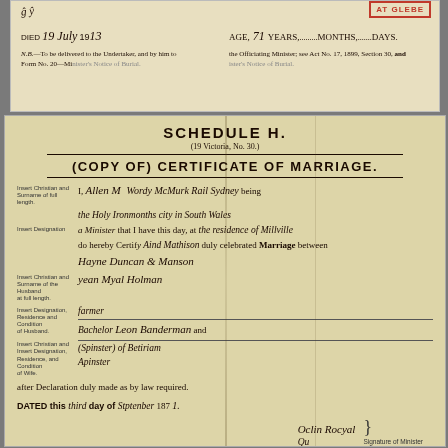[Figure (photo): Top fragment of a death registration document with handwritten entries. Shows 'Died 19 July 1913' on left side and 'Age, 71 Years, Months, Days' on right side. A red stamp reading 'AT GLEBE' is visible. Printed instruction text references Act No. 17, 1899, Section 30 and Form No. 20 Minister's Notice of Burial.]
[Figure (photo): Scanned historical marriage certificate document. Schedule H (19 Victoria, No. 30). Copy of Certificate of Marriage. Handwritten entries throughout. The document states 'I, [name] being [designation] that I have this day at [location] do hereby Certify [name] duly celebrated Marriage between [groom name] Duncan & [surname] and [bride details] Bachelor [name] and [bride name] (spinster) of [location] after Declaration duly made as by law required. DATED this [date] day of [month] 187[year].' Signatures of Minister at bottom.]